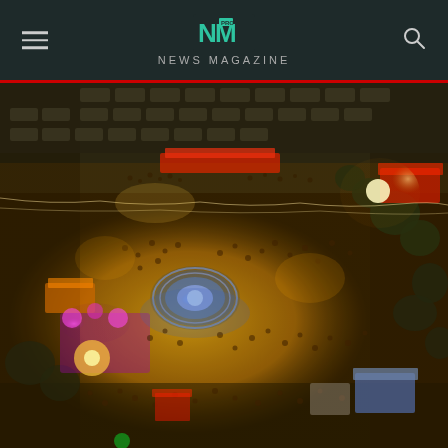NM NEWS MAGAZINE
[Figure (photo): Aerial night view of a large outdoor festival or event with colorful lights, crowds of people, a glowing blue circular installation in the center, vendor tents, parked cars, and warm golden ambient lighting across the grounds.]